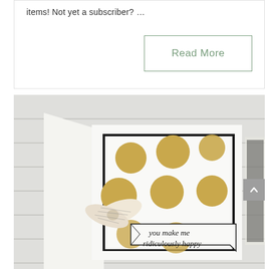items!  Not yet a subscriber? …
Read More
[Figure (photo): A handmade greeting card with gold polka dots on white background with black border, a decorative bow made of patterned ribbon, and a banner that reads 'you make me ridiculously happy', set against a white brick wall background.]